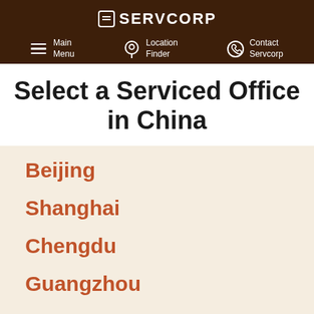SERVCORP
Main Menu | Location Finder | Contact Servcorp
Select a Serviced Office in China
Beijing
Shanghai
Chengdu
Guangzhou
Hong Kong